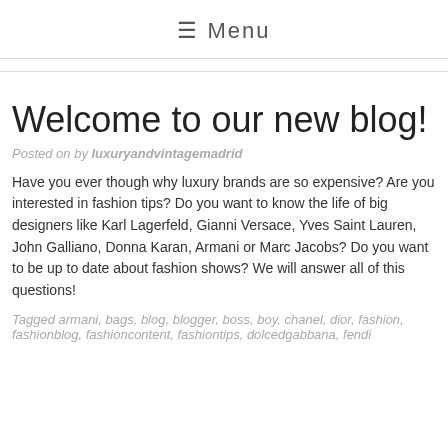☰ Menu
Welcome to our new blog!
Posted on by luxuryandvintagemadrid
Have you ever though why luxury brands are so expensive? Are you interested in fashion tips? Do you want to know the life of big designers like Karl Lagerfeld, Gianni Versace, Yves Saint Lauren, John Galliano, Donna Karan, Armani or Marc Jacobs? Do you want to be up to date about fashion shows? We will answer all of this questions!
Tagged armani, bags, blog, blogger, boss, boy, chanel, dior, fashion, fashionblog, fashioncontent, fashiontips, dolcedgabbana, fendi